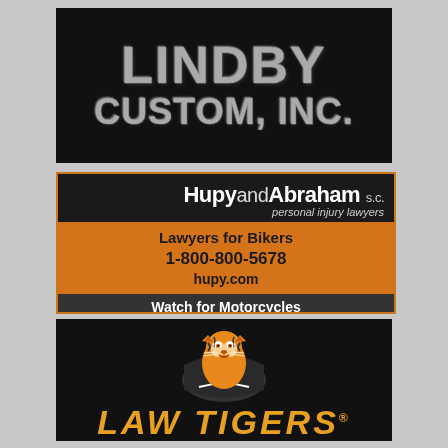[Figure (logo): Lindby Custom, Inc. advertisement - black background with metallic grey distressed text reading LINDBY CUSTOM, INC.]
[Figure (logo): Hupy and Abraham S.C. personal injury lawyers advertisement - black top bar with brand name, orange middle section with Lawyers for Bikers text, 1-800-800-5678, hupy.com, dark bottom bar with Watch for Motorcycles]
[Figure (logo): Law Tigers advertisement - black background with tiger mascot illustration and LAW TIGERS text in orange italic]